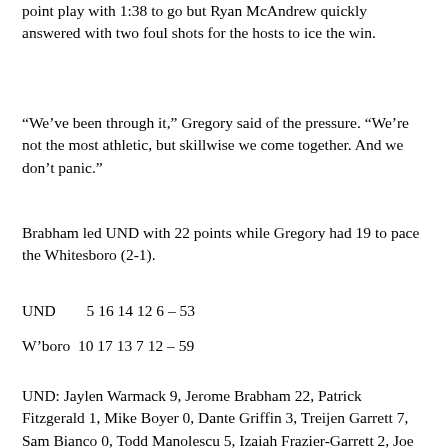point play with 1:38 to go but Ryan McAndrew quickly answered with two foul shots for the hosts to ice the win.
“We’ve been through it,” Gregory said of the pressure. “We’re not the most athletic, but skillwise we come together. And we don’t panic.”
Brabham led UND with 22 points while Gregory had 19 to pace the Whitesboro (2-1).
UND        5 16 14 12 6 – 53
W’boro  10 17 13 7 12 – 59
UND: Jaylen Warmack 9, Jerome Brabham 22, Patrick Fitzgerald 1, Mike Boyer 0, Dante Griffin 3, Treijen Garrett 7, Sam Bianco 0, Todd Manolescu 5, Izaiah Frazier-Garrett 2, Joe Quinn 0, Joe Flynt 0, Riley Davis 2.